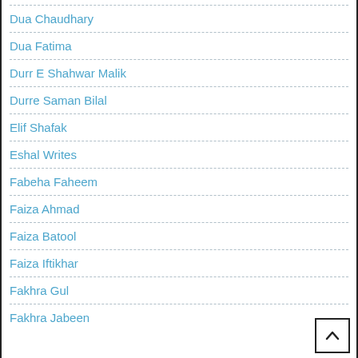Dua Chaudhary
Dua Fatima
Durr E Shahwar Malik
Durre Saman Bilal
Elif Shafak
Eshal Writes
Fabeha Faheem
Faiza Ahmad
Faiza Batool
Faiza Iftikhar
Fakhra Gul
Fakhra Jabeen